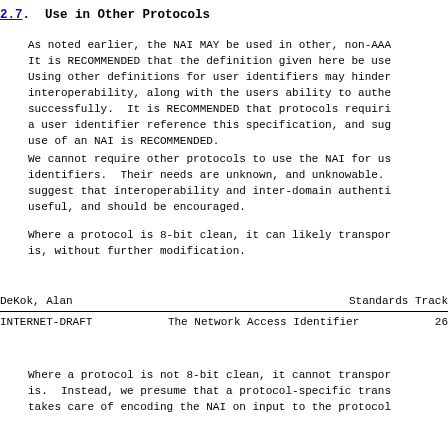2.7.  Use in Other Protocols
As noted earlier, the NAI MAY be used in other, non-AAA
It is RECOMMENDED that the definition given here be use
Using other definitions for user identifiers may hinder
interoperability, along with the users ability to authe
successfully.  It is RECOMMENDED that protocols requiri
a user identifier reference this specification, and sug
use of an NAI is RECOMMENDED.
We cannot require other protocols to use the NAI for us
identifiers.  Their needs are unknown, and unknowable.
suggest that interoperability and inter-domain authenti
useful, and should be encouraged.
Where a protocol is 8-bit clean, it can likely transpor
is, without further modification.
DeKok, Alan                    Standards Track
INTERNET-DRAFT        The Network Access Identifier      26
Where a protocol is not 8-bit clean, it cannot transpor
is.  Instead, we presume that a protocol-specific trans
takes care of encoding the NAI on input to the protocol